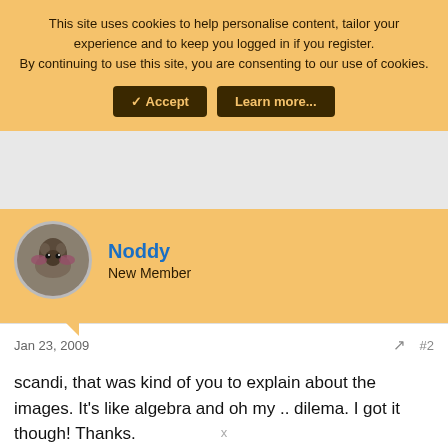This site uses cookies to help personalise content, tailor your experience and to keep you logged in if you register.
By continuing to use this site, you are consenting to our use of cookies.
[Figure (screenshot): Cookie consent banner with Accept and Learn more buttons on an orange background]
[Figure (screenshot): Gray advertisement area placeholder]
Noddy
New Member
Jan 23, 2009
#2
scandi, that was kind of you to explain about the images. It's like algebra and oh my .. dilema. I got it though! Thanks.
Oh by the way, I have to make sure that WS understands that I